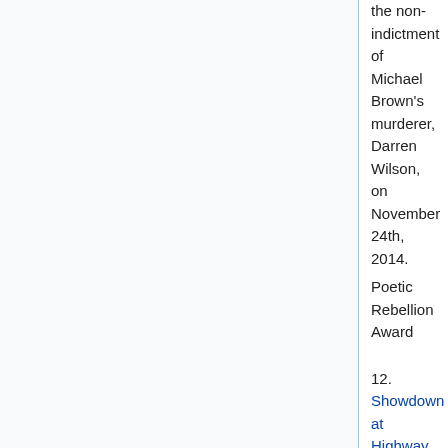the non-indictment of Michael Brown's murderer, Darren Wilson, on November 24th, 2014.
Poetic Rebellion Award
12. Showdown at Highway 134 ~ 5:12 by Franklin Lopez (Montreal, Canada) SubMedia.tv witnessed the brutal raid by the Royal Colonial Mounted Police on the indigenous Mi'kmaq blockade of fracking equipment.
Victory Against Oppression Award
13. Ballad of the Green Beret ~ 5:00 by Kevin Keating (San Francisco, California) This black and white film follows a few days in the life of a veteran of America's endless wars.